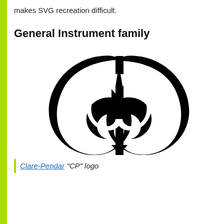makes SVG recreation difficult.
General Instrument family
[Figure (logo): Clare-Pendar CP logo — two circular arrows forming a figure-8 / infinity shape in black, with arrowheads pointing inward at the center vertical axis.]
Clare-Pendar “CP” logo